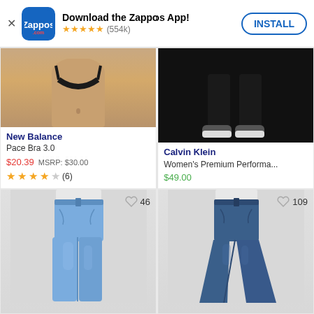Download the Zappos App! ★★★★★ (554k) INSTALL
[Figure (photo): New Balance Pace Bra 3.0 - cropped torso of model wearing black sports bra, tan skin]
New Balance
Pace Bra 3.0
$20.39 MSRP: $30.00
★★★★☆ (6)
[Figure (photo): Calvin Klein Women's Premium Performance jogger pants - lower legs and feet on black background with white sneakers]
Calvin Klein
Women's Premium Performa...
$49.00
[Figure (photo): Light blue high-waist straight jeans on model, heart icon with 46 likes]
[Figure (photo): Dark blue high-waist flare jeans on model, heart icon with 109 likes]